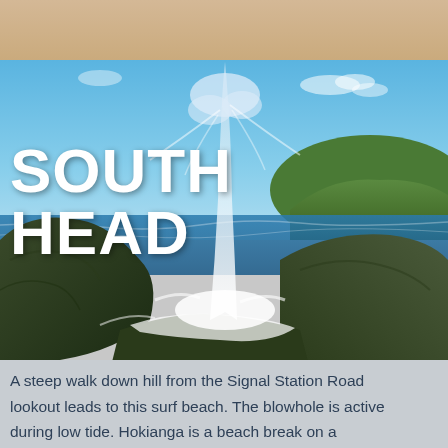[Figure (photo): Coastal scene at South Head showing waves crashing dramatically against dark rocky shoreline, sending a tall spray of white water into the air. Blue sky and green headland visible in background. 'SOUTH HEAD' text overlaid in large bold white font on the left side of the image.]
A steep walk down hill from the Signal Station Road lookout leads to this surf beach.  The blowhole is active during low tide.  Hokianga is a beach break on a sandy/rocky beach, located on the